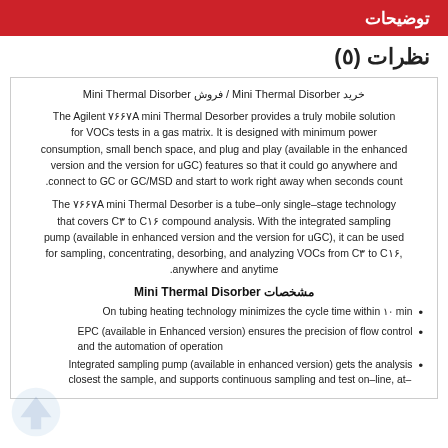توضیحات
نظرات (٥)
خرید Mini Thermal Disorber / فروش Mini Thermal Disorber
The Agilent ۷۶۶۷A mini Thermal Desorber provides a truly mobile solution for VOCs tests in a gas matrix. It is designed with minimum power consumption, small bench space, and plug and play (available in the enhanced version and the version for uGC) features so that it could go anywhere and connect to GC or GC/MSD and start to work right away when seconds count.
The ۷۶۶۷A mini Thermal Desorber is a tube–only single–stage technology that covers C۳ to C۱۶ compound analysis. With the integrated sampling pump (available in enhanced version and the version for uGC), it can be used for sampling, concentrating, desorbing, and analyzing VOCs from C۳ to C۱۶, anywhere and anytime.
مشخصات Mini Thermal Disorber
On tubing heating technology minimizes the cycle time within ۱۰ min
EPC (available in Enhanced version) ensures the precision of flow control and the automation of operation
Integrated sampling pump (available in enhanced version) gets the analysis closest the sample, and supports continuous sampling and test on–line, at–